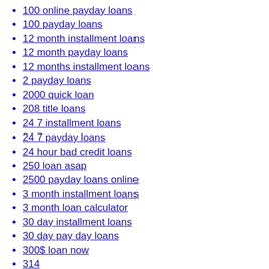100 online payday loans
100 payday loans
12 month installment loans
12 month payday loans
12 months installment loans
2 payday loans
2000 quick loan
208 title loans
24 7 installment loans
24 7 payday loans
24 hour bad credit loans
250 loan asap
2500 payday loans online
3 month installment loans
3 month loan calculator
30 day installment loans
30 day pay day loans
300$ loan now
314
321Chat adult dating online
321chat aplicacion para ligar
321chat app para ligar
321chat come funziona
321chat cz recenze